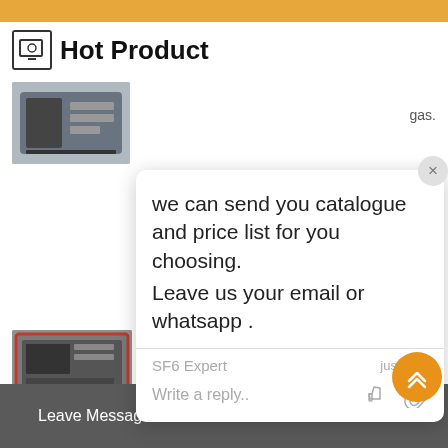Hot Product
[Figure (screenshot): First product image - SF6 gas handling device (dark colored unit)]
gas.
[Figure (screenshot): Chat popup overlay with message: we can send you catalogue and price list for you choosing. Leave us your email or whatsapp. Agent: SF6 Expert, just now. Reply input area.]
[Figure (screenshot): Second product image - RF391 Mega Series SF6 Gas Handling Unit (red and gray colored large unit)]
RF391 Mega Series SF6 Gas Handli...
Maintenance device for large and extra larg...
Leave Message   Chat Online